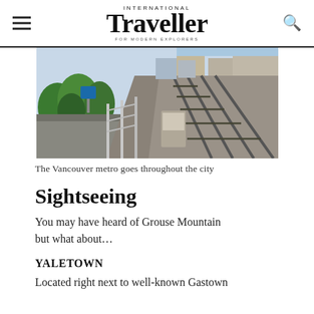INTERNATIONAL Traveller FOR MODERN EXPLORERS
[Figure (photo): Elevated metro/SkyTrain tracks stretching into the distance through an urban area with trees and buildings, viewed from above at an angle. Platform and transit infrastructure visible.]
The Vancouver metro goes throughout the city
Sightseeing
You may have heard of Grouse Mountain but what about…
YALETOWN
Located right next to well-known Gastown